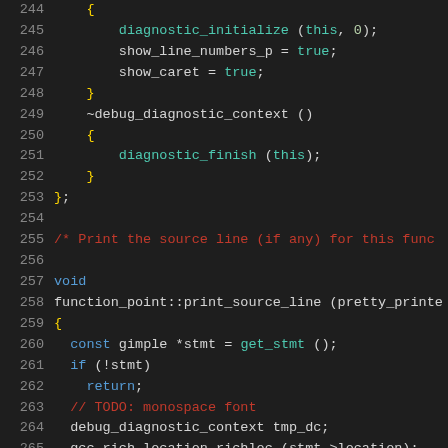Code listing lines 244-265, C++ source code with syntax highlighting
244     {
245         diagnostic_initialize (this, 0);
246         show_line_numbers_p = true;
247         show_caret = true;
248     }
249     ~debug_diagnostic_context ()
250     {
251         diagnostic_finish (this);
252     }
253 };
254
255 /* Print the source line (if any) for this func
256
257 void
258 function_point::print_source_line (pretty_printe
259 {
260   const gimple *stmt = get_stmt ();
261   if (!stmt)
262     return;
263   // TODO: monospace font
264   debug_diagnostic_context tmp_dc;
265   gcc rich location richloc (stmt->location);